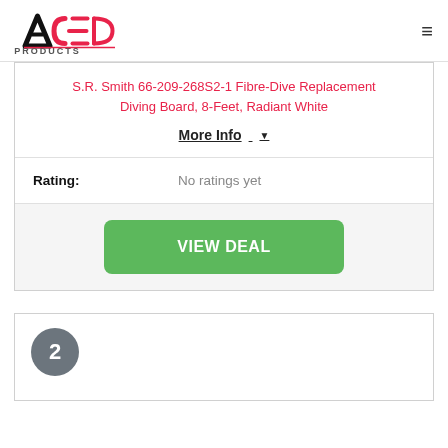ACED PRODUCTS
S.R. Smith 66-209-268S2-1 Fibre-Dive Replacement Diving Board, 8-Feet, Radiant White
More Info ▼
Rating: No ratings yet
VIEW DEAL
2